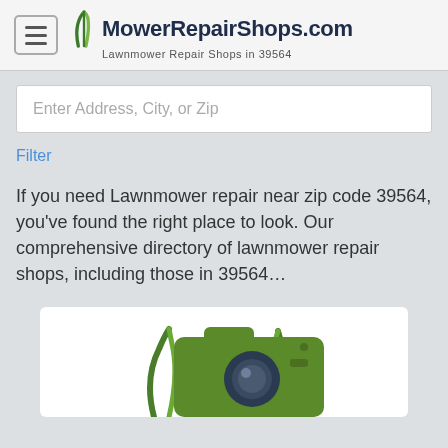MowerRepairShops.com — Lawnmower Repair Shops in 39564
Enter Address, City, or Zip
Filter
If you need Lawnmower repair near zip code 39564, you've found the right place to look. Our comprehensive directory of lawnmower repair shops, including those in 39564...
[Figure (illustration): Green camera icon with grass/leaf accents at the bottom, on a white rounded card background]